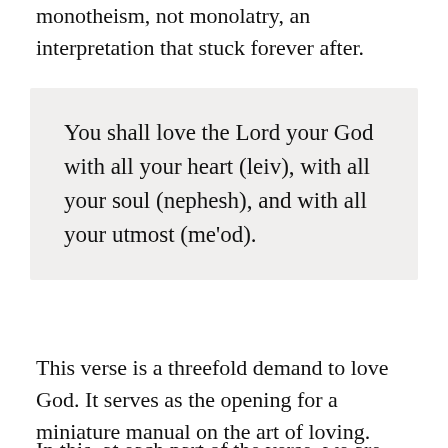monotheism, not monolatry, an interpretation that stuck forever after.
You shall love the Lord your God with all your heart (leiv), with all your soul (nephesh), and with all your utmost (me'od).
This verse is a threefold demand to love God. It serves as the opening for a miniature manual on the art of loving. Acting out the behaviors of love promotes the corresponding feelings of love. Going through the motions fosters the corresponding emotions.
In this, at each part of the verse, we are told how...